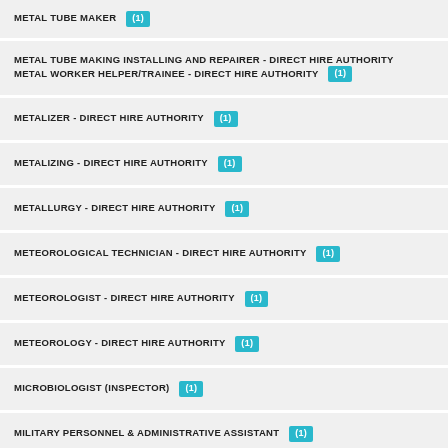METAL TUBE MAKER (1)
METAL TUBE MAKING INSTALLING AND REPAIRER - DIRECT HIRE AUTHORITY
METAL WORKER HELPER/TRAINEE - DIRECT HIRE AUTHORITY (1)
METALIZER - DIRECT HIRE AUTHORITY (1)
METALIZING - DIRECT HIRE AUTHORITY (1)
METALLURGY - DIRECT HIRE AUTHORITY (1)
METEOROLOGICAL TECHNICIAN - DIRECT HIRE AUTHORITY (1)
METEOROLOGIST - DIRECT HIRE AUTHORITY (1)
METEOROLOGY - DIRECT HIRE AUTHORITY (1)
MICROBIOLOGIST (INSPECTOR) (1)
MILITARY PERSONNEL & ADMINISTRATIVE ASSISTANT (1)
MISC AIRCRAFT OVERHAUL DIRECT HIRE AUTHORITY (1)
MISC ELECTRICAL INSTALLATION AND MAINTENANCE - DIRECT HIRE AUTHORITY